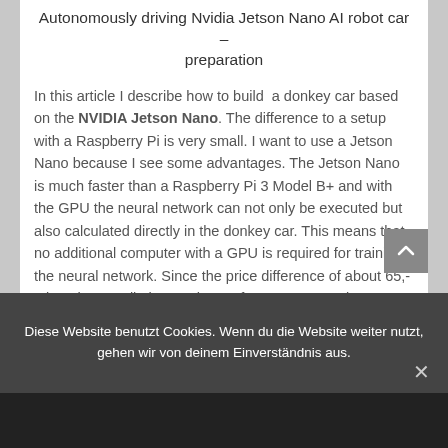Autonomously driving Nvidia Jetson Nano AI robot car – preparation
In this article I describe how to build  a donkey car based on the NVIDIA Jetson Nano. The difference to a setup with a Raspberry Pi is very small. I want to use a Jetson Nano because I see some advantages. The Jetson Nano is much faster than a Raspberry Pi 3 Model B+ and with the GPU the neural network can not only be executed but also calculated directly in the donkey car. This means that no additional computer with a GPU is required for training the neural network. Since the price difference of about 65,-€ is rather small, the purchase of a Jetson Nano is worthwhile if you can also without a computer ...
Diese Website benutzt Cookies. Wenn du die Website weiter nutzt, gehen wir von deinem Einverständnis aus.